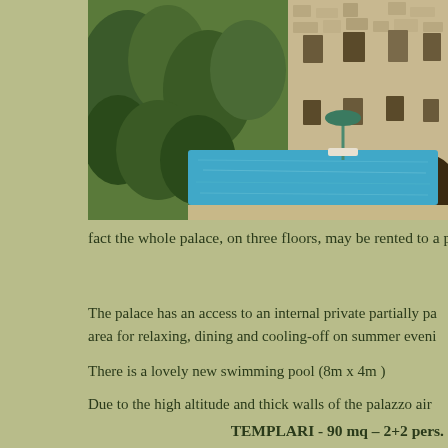[Figure (photo): Exterior view of a stone palace/castello with a rectangular swimming pool in the courtyard, surrounded by lush greenery and trees]
fact the whole palace, on three floors, may be rented to a p
The palace has an access to an internal private partially pa area for relaxing, dining and cooling-off on summer eveni
There is a lovely new swimming pool (8m x 4m )
Due to the high altitude and thick walls of the palazzo air
TEMPLARI - 90 mq – 2+2 pers.